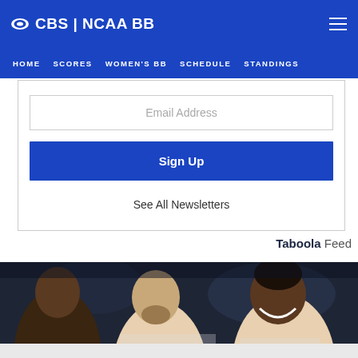CBS | NCAA BB
HOME  SCORES  WOMEN'S BB  SCHEDULE  STANDINGS
Email Address
Sign Up
See All Newsletters
Taboola Feed
[Figure (photo): Basketball players celebrating on court, one laughing with teammates in white jerseys]